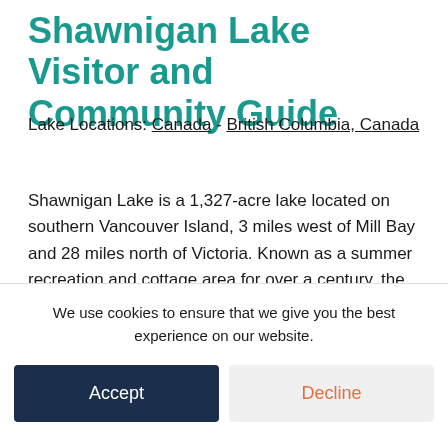Shawnigan Lake Visitor and Community Guide
Lake Locations: Canada - British Columbia, Canada
Shawnigan Lake is a 1,327-acre lake located on southern Vancouver Island, 3 miles west of Mill Bay and 28 miles north of Victoria. Known as a summer recreation and cottage area for over a century, the lake is becoming a favorite weekend getaway spot and one of Victoria's
We use cookies to ensure that we give you the best experience on our website.
Accept
Decline